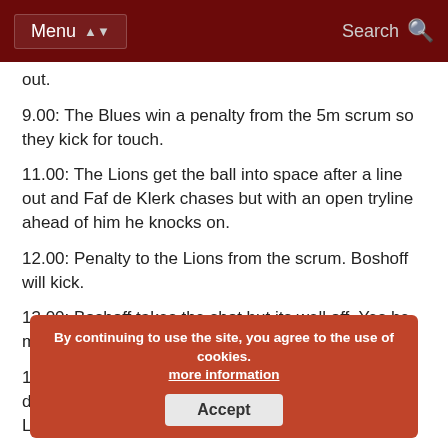Menu | Search
out.
9.00: The Blues win a penalty from the 5m scrum so they kick for touch.
11.00: The Lions get the ball into space after a line out and Faf de Klerk chases but with an open tryline ahead of him he knocks on.
12.00: Penalty to the Lions from the scrum. Boshoff will kick.
13.00: Boshoff takes the shot but its well off. Yes he missed.
16.00: The Blues win a line out and try to run the ball down the wing. The passing is a little loose and the Lions grab the ball and start their own attack.
18.00: Robbie Coetzee has a powerful run for the Lions but he is eventually caught and the defence holds him up well for far.
19.00: The Blues work the ball into the Lions 22. They go through 9 phases but then the Lions knock on.
By continuing to use the site, you agree to the use of cookies. more information | Accept